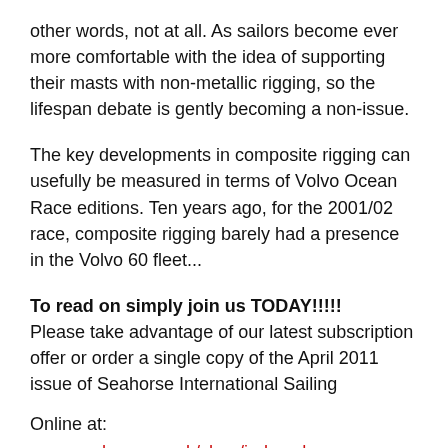other words, not at all. As sailors become ever more comfortable with the idea of supporting their masts with non-metallic rigging, so the lifespan debate is gently becoming a non-issue.
The key developments in composite rigging can usefully be measured in terms of Volvo Ocean Race editions. Ten years ago, for the 2001/02 race, composite rigging barely had a presence in the Volvo 60 fleet...
To read on simply join us TODAY!!!!!
Please take advantage of our latest subscription offer or order a single copy of the April 2011 issue of Seahorse International Sailing
Online at:
www.seahorse.co.uk/shop/index.php
Or via email: